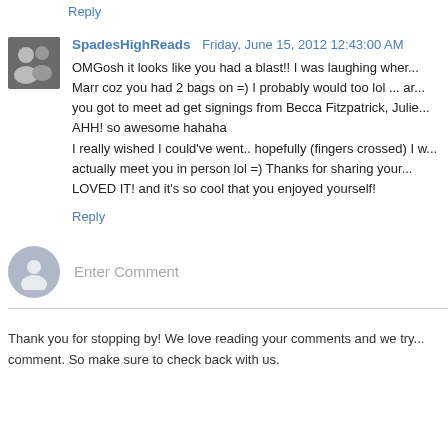Reply
SpadesHighReads  Friday, June 15, 2012 12:43:00 AM
OMGosh it looks like you had a blast!! I was laughing when... Marr coz you had 2 bags on =) I probably would too lol ... and you got to meet ad get signings from Becca Fitzpatrick, Julie... AHH! so awesome hahaha
I really wished I could've went.. hopefully (fingers crossed) I w... actually meet you in person lol =) Thanks for sharing your... LOVED IT! and it's so cool that you enjoyed yourself!
Reply
Enter Comment
Thank you for stopping by! We love reading your comments and we try... comment. So make sure to check back with us.